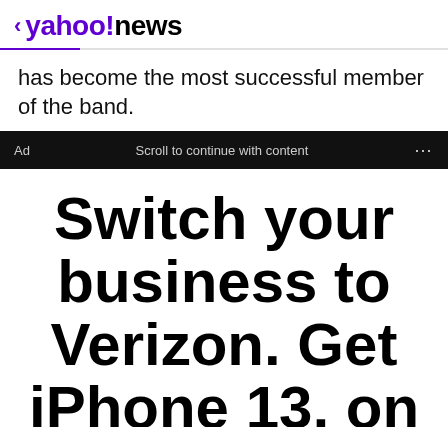< yahoo!news
has become the most successful member of the band.
Ad   Scroll to continue with content   ...
[Figure (other): Verizon advertisement with text: Switch your business to Verizon. Get iPhone 13, on us]
Switch your business to Verizon. Get iPhone 13, on us